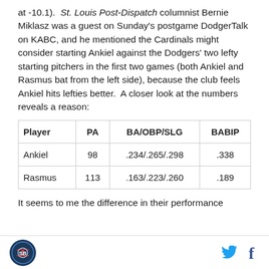at -10.1).  St. Louis Post-Dispatch columnist Bernie Miklasz was a guest on Sunday's postgame DodgerTalk on KABC, and he mentioned the Cardinals might consider starting Ankiel against the Dodgers' two lefty starting pitchers in the first two games (both Ankiel and Rasmus bat from the left side), because the club feels Ankiel hits lefties better.  A closer look at the numbers reveals a reason:
| Player | PA | BA/OBP/SLG | BABIP |
| --- | --- | --- | --- |
| Ankiel | 98 | .234/.265/.298 | .338 |
| Rasmus | 113 | .163/.223/.260 | .189 |
It seems to me the difference in their performance